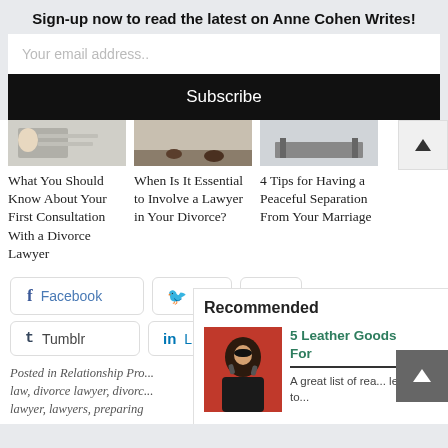Sign-up now to read the latest on Anne Cohen Writes!
Your email address..
Subscribe
[Figure (photo): Partial photo of person at desk signing documents]
[Figure (photo): Partial photo of feet walking on hardwood floor]
[Figure (photo): Partial photo of a table in a room]
What You Should Know About Your First Consultation With a Divorce Lawyer
When Is It Essential to Involve a Lawyer in Your Divorce?
4 Tips for Having a Peaceful Separation From Your Marriage
Facebook
Tumblr
Posted in Relationship Pro... law, divorce lawyer, divorc... lawyer, lawyers, preparing
Recommended
[Figure (photo): Man in sunglasses and black jacket against red background]
5 Leather Goods For
A great list of rea... leather to...